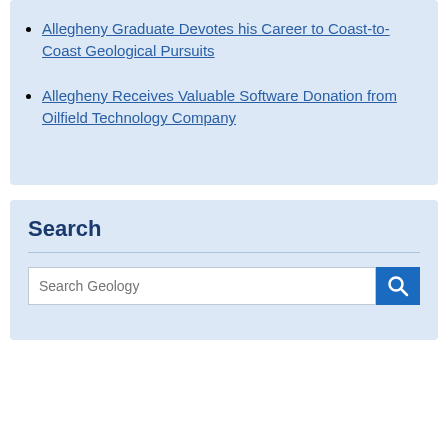Allegheny Graduate Devotes his Career to Coast-to-Coast Geological Pursuits
Allegheny Receives Valuable Software Donation from Oilfield Technology Company
Search
Search Geology